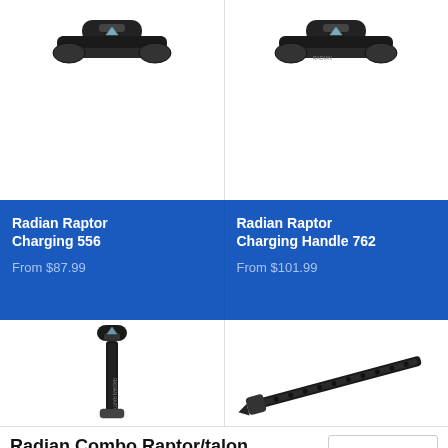[Figure (photo): Radian Raptor Charging 556 charging handle product photo, top cropped view on white background]
[Figure (photo): Radian Raptor Charging Handle 762 charging handle product photo, top cropped view on white background]
Radian Raptor Charging 556
From $87.99
Radian Raptor Charging Handle 762
From $101.99
[Figure (photo): Radian Raptor charging handle full product photo showing handle with Radian branding text along the body]
[Figure (photo): Radian talon product photo, elongated rail/bar accessory shown at angle]
Radian Combo Raptor/talon Ar15
Black - $1:
Add to cart